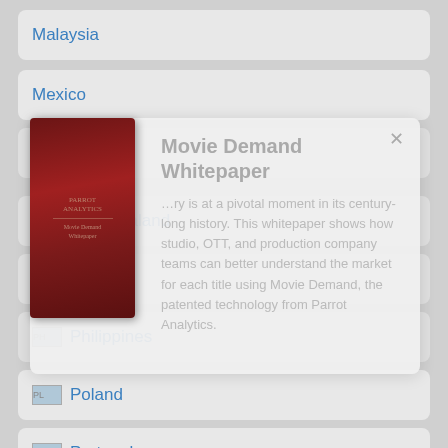Malaysia
Mexico
Netherlands
[Figure (screenshot): Popup overlay showing 'Movie Demand Whitepaper' with a book cover thumbnail and descriptive text about the film industry and Movie Demand technology by Parrot Analytics]
New Zealand
Norway
Philippines
Poland
Portugal